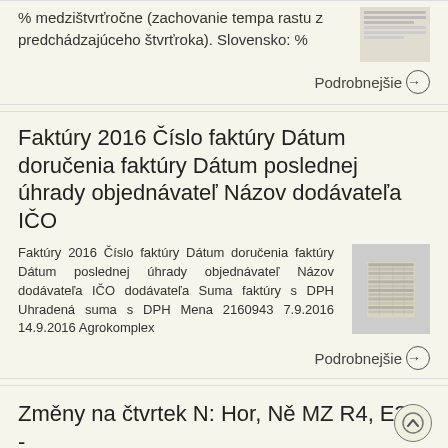% medzištvrťročne (zachovanie tempa rastu z predchádzajúceho štvrťroka). Slovensko: %
Podrobnejšie →
Faktúry 2016 Číslo faktúry Dátum doručenia faktúry Dátum poslednej úhrady objednávateľ Názov dodávateľa IČO
Faktúry 2016 Číslo faktúry Dátum doručenia faktúry Dátum poslednej úhrady objednávateľ Názov dodávateľa IČO dodávateľa Suma faktúry s DPH Uhradená suma s DPH Mena 2160943 7.9.2016 14.9.2016 Agrokomplex
[Figure (screenshot): Thumbnail image of a table/document]
Podrobnejšie →
Změny na čtvrtek N: Hor, Ně MZ R4, E3S - didaktické testy MZ Uč. č. 5 - PaedDr.